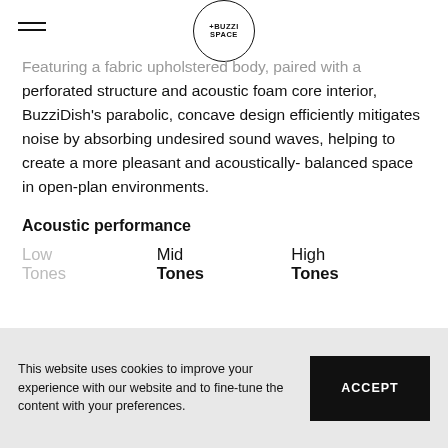+BUZZI SPACE (logo with hamburger menu)
Featuring a fabric upholstered body, paired with a perforated structure and acoustic foam core interior, BuzziDish's parabolic, concave design efficiently mitigates noise by absorbing undesired sound waves, helping to create a more pleasant and acoustically-balanced space in open-plan environments.
Acoustic performance
Low Tones | Mid Tones | High Tones
This website uses cookies to improve your experience with our website and to fine-tune the content with your preferences.